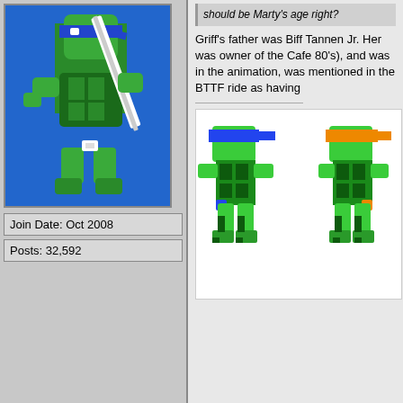[Figure (illustration): Pixel art / sprite image of a Teenage Mutant Ninja Turtle (Leonardo) in blue, green and white colors holding a weapon, on a blue background]
Join Date: Oct 2008
Posts: 32,592
Griff's father was Biff Tannen Jr. Her was owner of the Cafe 80's), and was in the animation, was mentioned in the BTTF ride as having...
[Figure (screenshot): Pixel art sprites of two Teenage Mutant Ninja Turtles - one with blue bandana (Leonardo) and one with orange bandana (Michelangelo) in classic NES/arcade game style]
03-15-2021, 11:42 AM
ShabbyBlue
Join Date: Dec 2012
Hopefully Griff comes with the carrying case... else accessory-wise they can include with NECA-ized version of the USA Today ("NE... though, unless it's already coming with...